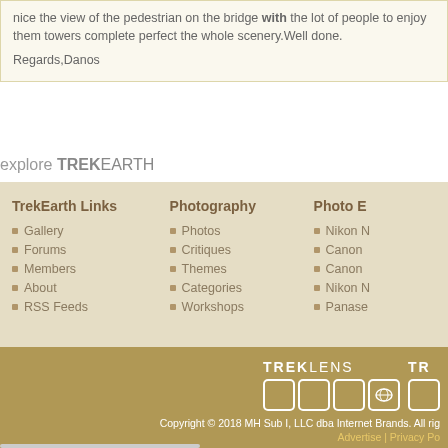nice the view of the pedestrian on the bridge with the lot of people to enjoy them towers complete perfect the whole scenery.Well done.
Regards,Danos
explore TREKEARTH
TrekEarth Links: Gallery, Forums, Members, About, RSS Feeds
Photography: Photos, Critiques, Themes, Categories, Workshops
Photo E... Nikon, Canon, Canon, Nikon, Panase...
[Figure (logo): TREKLENS logo with icon boxes and partial TR logo]
Copyright © 2018 MH Sub I, LLC dba Internet Brands. All rights reserved. Advertise | Privacy Po...